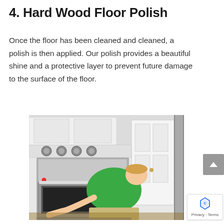4. Hard Wood Floor Polish
Once the floor has been cleaned and cleaned, a polish is then applied. Our polish provides a beautiful shine and a protective layer to prevent future damage to the surface of the floor.
[Figure (photo): A person wearing a green shirt bending down to work on a stainless steel oven in a white kitchen with white cabinets and a door in the background.]